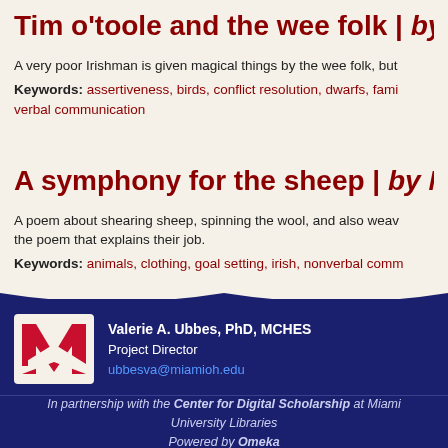Tim o'toole and the wee folk | by [author]
A very poor Irishman is given magical things by the wee folk, but...
Keywords: assertiveness, birds, conflict resolution, dwarfs, fami... verbal communication
A symphony for the sheep | by M[author]
A poem about shearing sheep, spinning the wool, and also weav... the poem that explains their job.
Keywords: animals, clothing, goal setting, irish, nonverbal comm...
Valerie A. Ubbes, PhD, MCHES
Project Director
ubbesva@miamioh.edu
In partnership with the Center for Digital Scholarship at Miami University Libraries
Powered by Omeka